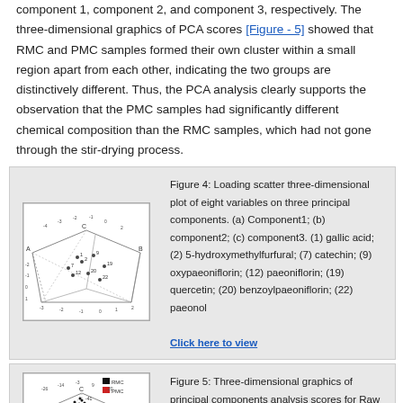component 1, component 2, and component 3, respectively. The three-dimensional graphics of PCA scores [Figure - 5] showed that RMC and PMC samples formed their own cluster within a small region apart from each other, indicating the two groups are distinctively different. Thus, the PCA analysis clearly supports the observation that the PMC samples had significantly different chemical composition than the RMC samples, which had not gone through the stir-drying process.
[Figure (other): Loading scatter three-dimensional plot of eight variables on three principal components showing a wireframe cube with labeled points.]
Figure 4: Loading scatter three-dimensional plot of eight variables on three principal components. (a) Component1; (b) component2; (c) component3. (1) gallic acid; (2) 5-hydroxymethylfurfural; (7) catechin; (9) oxypaeoniflorin; (12) paeoniflorin; (19) quercetin; (20) benzoylpaeoniflorin; (22) paeonol
[Figure (other): Three-dimensional graphics of principal components analysis scores for Raw Moutan Cortex and Processed Moutan Cortex, with RMC points in black and PMC points in red.]
Figure 5: Three-dimensional graphics of principal components analysis scores for Raw Moutan Cortex and Processed Moutan Cortex